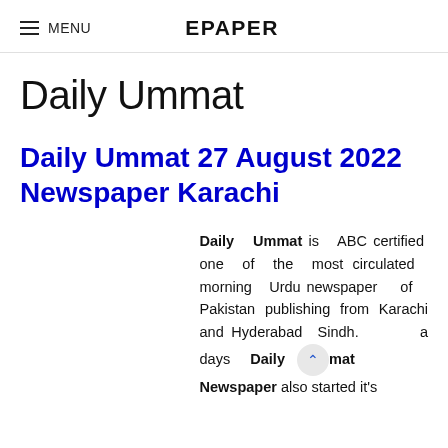≡ MENU   EPAPER
Daily Ummat
Daily Ummat 27 August 2022 Newspaper Karachi
Daily Ummat is ABC certified one of the most circulated morning Urdu newspaper of Pakistan publishing from Karachi and Hyderabad Sindh. a days Daily Ummat Newspaper also started it's